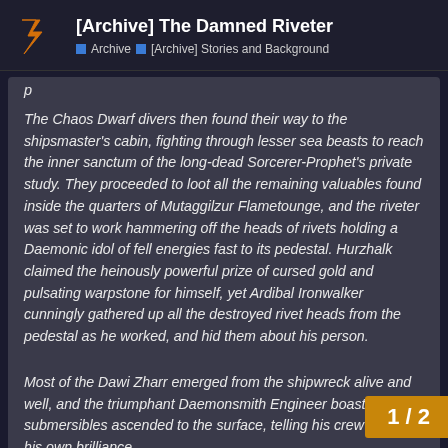[Archive] The Damned Riveter | Archive > [Archive] Stories and Background
The Chaos Dwarf divers then found their way to the shipsmaster's cabin, fighting through lesser sea beasts to reach the inner sanctum of the long-dead Sorcerer-Prophet's private study. They proceeded to loot all the remaining valuables found inside the quarters of Mutaggilzur Flametounge, and the riveter was set to work hammering off the heads of rivets holding a Daemonic idol of fell energies fast to its pedestal. Hurzhalk claimed the heinously powerful prize of cursed gold and pulsating warpstone for himself, yet Ardibal Ironwalker cunningly gathered up all the destroyed rivet heads from the pedestal as he worked, and hid them about his person.
Most of the Dawi Zharr emerged from the shipwreck alive and well, and the triumphant Daemonsmith Engineer boasted as his submersibles ascended to the surface, telling his crew about his own brilliance and expecting adulation to Hashut for granting him s...
1 / 2